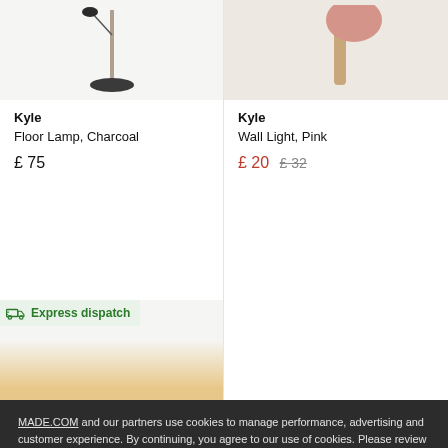[Figure (photo): Kyle Floor Lamp Charcoal product photo - partial view of lamp base on light grey background]
[Figure (photo): Kyle Wall Light Pink product photo - partial view of pink wall light on beige background]
Kyle
Floor Lamp, Charcoal
£ 75
Kyle
Wall Light, Pink
£ 20  £ 32
Express dispatch
MADE.COM and our partners use cookies to manage performance, advertising and customer experience. By continuing, you agree to our use of cookies. Please review our policy to learn about managing cookies.
ACCEPT